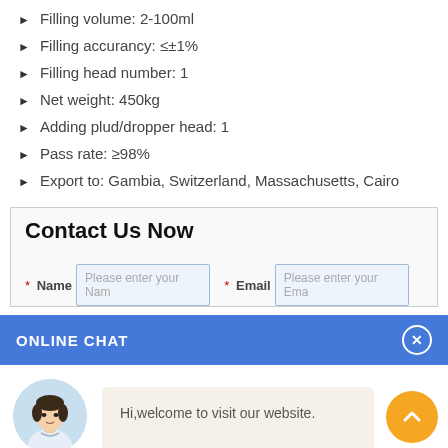Filling volume: 2-100ml
Filling accurancy: ≤±1%
Filling head number: 1
Net weight: 450kg
Adding plud/dropper head: 1
Pass rate: ≥98%
Export to: Gambia, Switzerland, Massachusetts, Cairo
Contact Us Now
* Name  Please enter your Nam   * Email  Please enter your Ema
ONLINE CHAT
[Figure (illustration): Chat widget showing avatar of a woman named Cilina and a speech bubble saying 'Hi,welcome to visit our website.']
Hi,welcome to visit our website.
Cilina